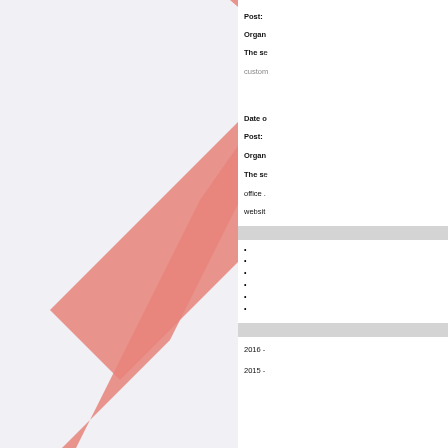[Figure (illustration): Large salmon/coral colored arrow shape pointing upper-right, overlapping the left portion of the page]
Post: [truncated]
Organisation: [truncated]
The se... custom...
Date of...
Post: ...
Organisation: ...
The se...
office ...
websi...
bullet item 1
bullet item 2
bullet item 3
bullet item 4
bullet item 5
bullet item 6
2016 -
2015 -